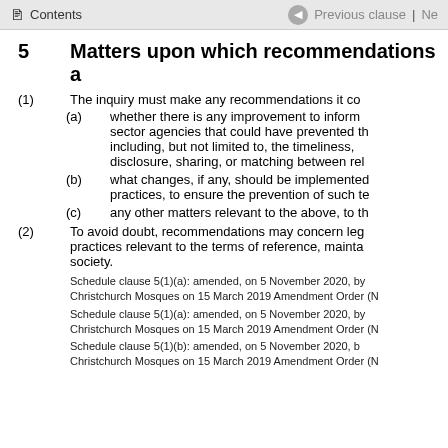Contents | Previous clause | Ne
5 Matters upon which recommendations a
(1) The inquiry must make any recommendations it co
(a) whether there is any improvement to inform sector agencies that could have prevented the including, but not limited to, the timeliness, disclosure, sharing, or matching between rel
(b) what changes, if any, should be implemented practices, to ensure the prevention of such te
(c) any other matters relevant to the above, to th
(2) To avoid doubt, recommendations may concern leg practices relevant to the terms of reference, mainta society.
Schedule clause 5(1)(a): amended, on 5 November 2020, by Christchurch Mosques on 15 March 2019 Amendment Order (N
Schedule clause 5(1)(a): amended, on 5 November 2020, by Christchurch Mosques on 15 March 2019 Amendment Order (N
Schedule clause 5(1)(b): amended, on 5 November 2020, b Christchurch Mosques on 15 March 2019 Amendment Order (N